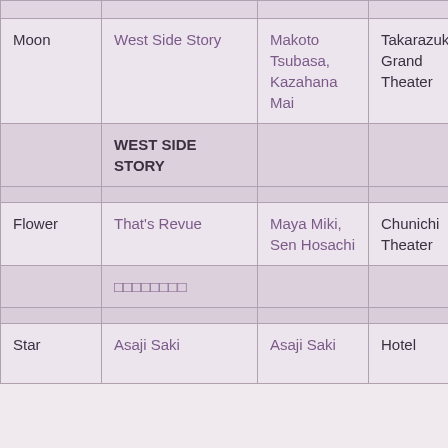| Troupe | Show | Lead Performers | Venue |
| --- | --- | --- | --- |
| Moon | West Side Story | Makoto Tsubasa, Kazahana Mai | Takarazuka Grand Theater |
|  | WEST SIDE STORY |  |  |
| Flower | That's Revue | Maya Miki, Sen Hosachi | Chunichi Theater |
|  | □□□□□□□□ |  |  |
| Star | Asaji Saki | Asaji Saki | Hotel |